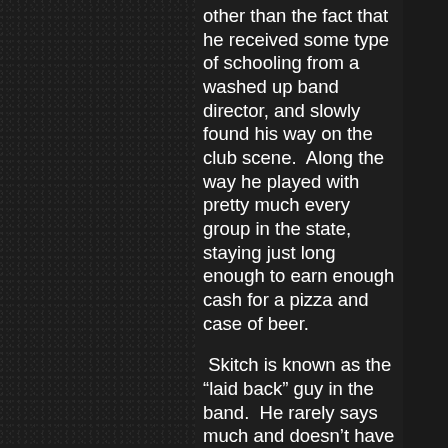other than the fact that he received some type of schooling from a washed up band director, and slowly found his way on the club scene.  Along the way he played with pretty much every group in the state, staying just long enough to earn enough cash for a pizza and case of beer.

 Skitch is known as the “laid back” guy in the band.  He rarely says much and doesn’t have an opinion on anything; just go with the flow.  It doesn’t take much to rile him up and I think that shows in his playing. . . slow, methodical, and come to think